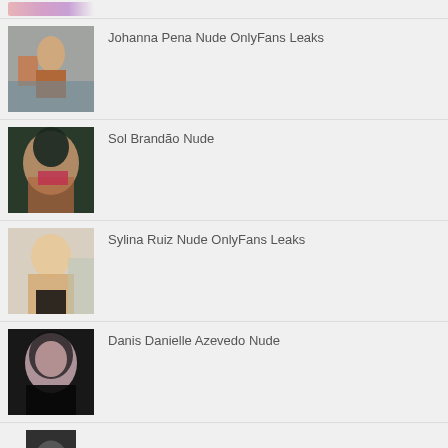Johanna Pena Nude OnlyFans Leaks
Sol Brandão Nude
Sylina Ruiz Nude OnlyFans Leaks
Danis Danielle Azevedo Nude